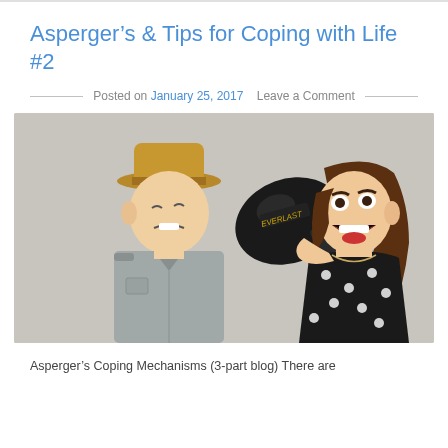Asperger’s & Tips for Coping with Life #2
Posted on January 25, 2017   Leave a Comment
[Figure (photo): A woman wearing boxing gloves punching a man in the face. The man wearing a tan fedora hat and grey shirt is grimacing from the punch. The woman in a black polka dot top is yelling aggressively.]
Asperger’s Coping Mechanisms (3-part blog) There are